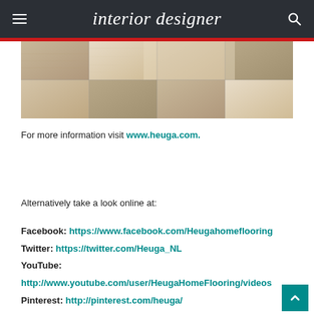interior designer
[Figure (photo): Close-up of beige/tan patterned floor tiles or carpet tiles with subtle geometric texture]
For more information visit www.heuga.com.
Alternatively take a look online at:
Facebook: https://www.facebook.com/Heugahomeflooring
Twitter: https://twitter.com/Heuga_NL
YouTube:
http://www.youtube.com/user/HeugaHomeFlooring/videos
Pinterest: http://pinterest.com/heuga/